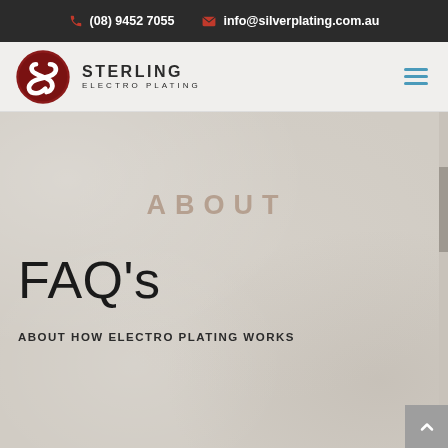(08) 9452 7055  info@silverplating.com.au
[Figure (logo): Sterling Electro Plating logo — dark red oval with white S-curve, text STERLING ELECTRO PLATING]
ABOUT
FAQ's
ABOUT HOW ELECTRO PLATING WORKS